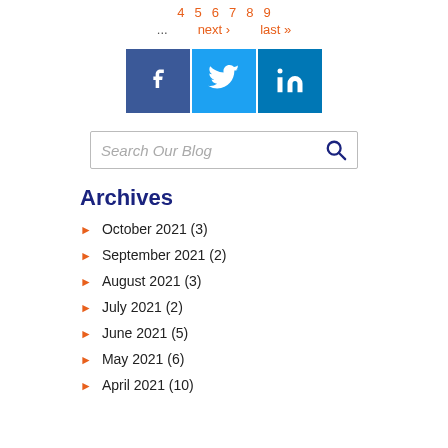4 5 6 7 8 9 ... next › last »
[Figure (illustration): Social media icons: Facebook (blue square with f), Twitter (light blue square with bird), LinkedIn (dark teal square with in)]
Search Our Blog
Archives
October 2021 (3)
September 2021 (2)
August 2021 (3)
July 2021 (2)
June 2021 (5)
May 2021 (6)
April 2021 (10)